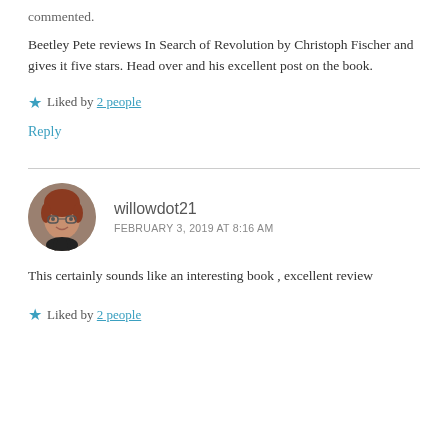commented.
Beetley Pete reviews In Search of Revolution by Christoph Fischer and gives it five stars. Head over and his excellent post on the book.
Liked by 2 people
Reply
willowdot21
FEBRUARY 3, 2019 AT 8:16 AM
This certainly sounds like an interesting book , excellent review
Liked by 2 people